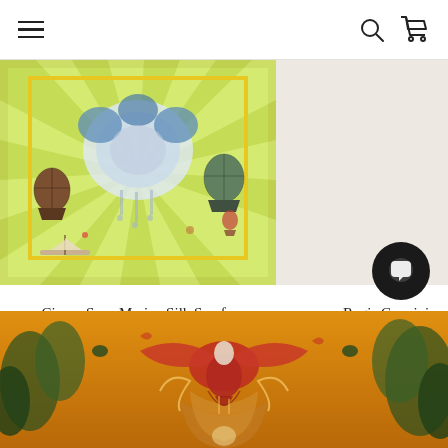Navigation header with hamburger menu, search icon, and cart icon
[Figure (photo): Cirque Sous Marine silk scarf product image showing ornate illustration with hot air balloons, sailing ships, and decorative baroque elements on a green and yellow striped background]
Cirque Sous Marine Silk Scarf - Santorus
£195.00
[Figure (photo): Partially visible product image for Regis Convini Santorus scarf, cream/neutral background]
Regis Convini - San
£19
[Figure (photo): Bottom banner showing ornate illustration with tropical birds including large red bird of prey, exotic foliage, decorative baroque elements on a golden/orange background]